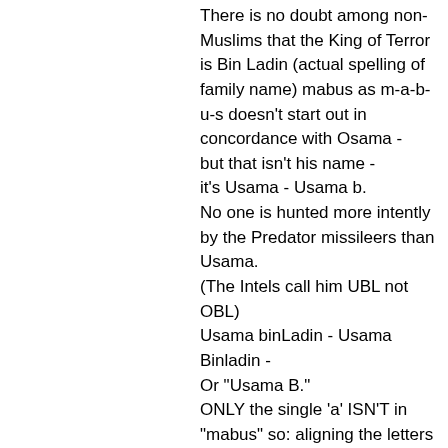There is no doubt among non-Muslims that the King of Terror is Bin Ladin (actual spelling of family name) mabus as m-a-b-u-s doesn't start out in concordance with Osama - but that isn't his name - it's Usama - Usama b. No one is hunted more intently by the Predator missileers than Usama. (The Intels call him UBL not OBL) Usama binLadin - Usama Binladin - Or "Usama B." ONLY the single 'a' ISN'T in "mabus" so: aligning the letters of UBL's real name with the letters in their place in "Mabus": (a) Mabus Us (a) ma b the 2nd "a" can be either